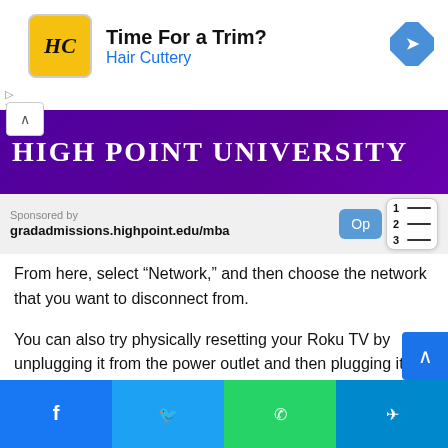[Figure (screenshot): Advertisement banner for Hair Cuttery with logo, 'Time For a Trim?' headline, and navigation arrow icon]
[Figure (logo): High Point University purple banner with serif university name text]
Sponsored by gradadmissions.highpoint.edu/mba
From here, select “Network,” and then choose the network that you want to disconnect from.
You can also try physically resetting your Roku TV by unplugging it from the power outlet and then plugging it back in after a few seconds.
[Figure (screenshot): Bottom social share bar with Facebook, Twitter, WhatsApp, and Telegram icons]